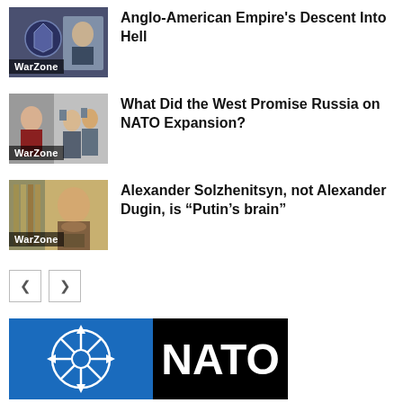[Figure (photo): Thumbnail for WarZone article about Anglo-American Empire's Descent Into Hell, showing a woman and a shield emblem]
Anglo-American Empire's Descent Into Hell
[Figure (photo): Thumbnail for WarZone article about NATO Expansion promises to Russia, showing Putin and soldiers]
What Did the West Promise Russia on NATO Expansion?
[Figure (photo): Thumbnail for WarZone article about Alexander Solzhenitsyn being Putin's brain, showing Alexander Dugin]
Alexander Solzhenitsyn, not Alexander Dugin, is “Putin’s brain”
[Figure (logo): NATO logo banner with blue compass rose on left and NATO text on black background on right]